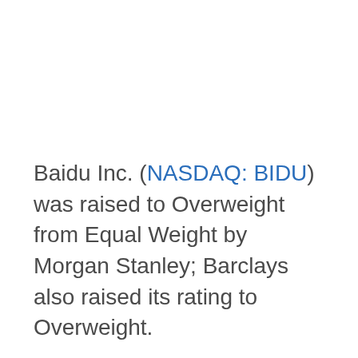Baidu Inc. (NASDAQ: BIDU) was raised to Overweight from Equal Weight by Morgan Stanley; Barclays also raised its rating to Overweight.